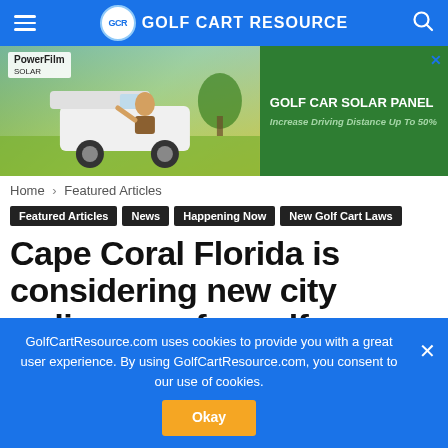GCR GOLF CART RESOURCE
[Figure (photo): Golf cart advertisement banner for PowerFilm Golf Car Solar Panel - Increase Driving Distance Up To 50%]
Home › Featured Articles
Featured Articles
News
Happening Now
New Golf Cart Laws
Cape Coral Florida is considering new city ordinances for golf cars
GolfCartResource.com uses cookies to provide you with a great user experience. By using GolfCartResource.com, you consent to our use of cookies.